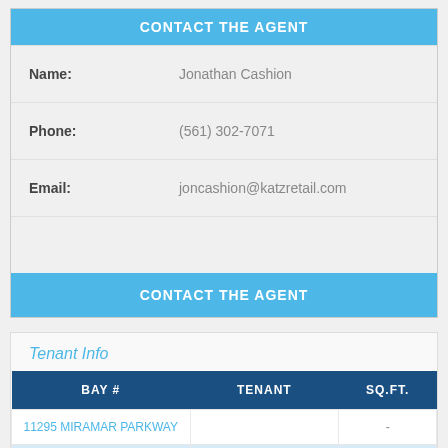CONTACT THE AGENT
| Field | Value |
| --- | --- |
| Name: | Jonathan Cashion |
| Phone: | (561) 302-7071 |
| Email: | joncashion@katzretail.com |
|  |  |
CONTACT THE AGENT
Tenant Info
| BAY # | TENANT | SQ.FT. |
| --- | --- | --- |
| 11295 MIRAMAR PARKWAY |  | - |
| 100 | Available | 1,200 |